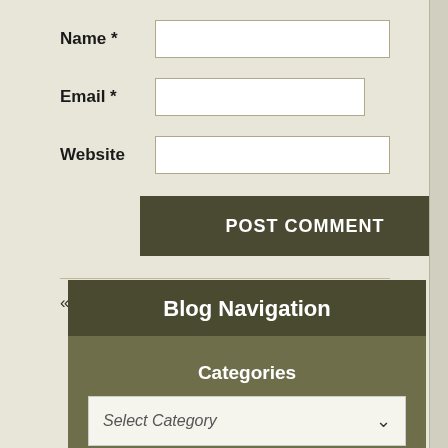Name *
Email *
Website
POST COMMENT
« Week off
Some open Dates »
Blog Navigation
Categories
Select Category
Archives